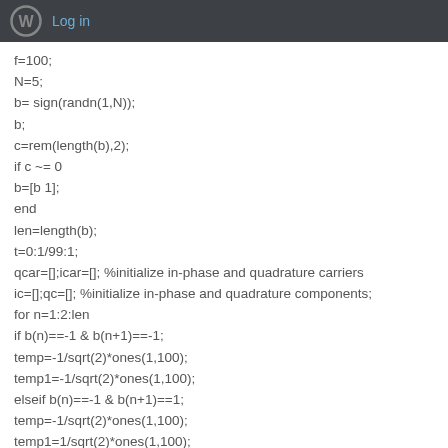Log in
f=100;
N=5;
b= sign(randn(1,N));
b;
c=rem(length(b),2);
if c ~= 0
b=[b 1];
end
len=length(b);
t=0:1/99:1;
qcar=[];icar=[]; %initialize in-phase and quadrature carriers
ic=[];qc=[]; %initialize in-phase and quadrature components;
for n=1:2:len
if b(n)==-1 & b(n+1)==-1;
temp=-1/sqrt(2)*ones(1,100);
temp1=-1/sqrt(2)*ones(1,100);
elseif b(n)==-1 & b(n+1)==1;
temp=-1/sqrt(2)*ones(1,100);
temp1=1/sqrt(2)*ones(1,100);